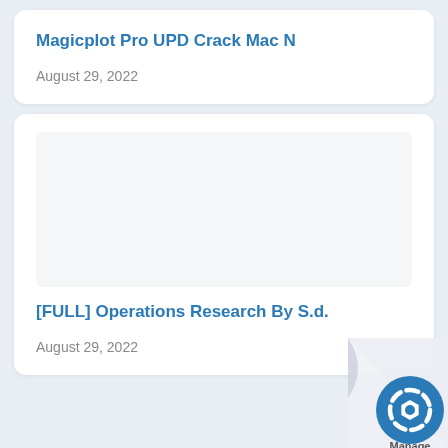Magicplot Pro UPD Crack Mac N
August 29, 2022
[FULL] Operations Research By S.d.
August 29, 2022
[Figure (logo): Manage logo with page curl effect in bottom-right corner]